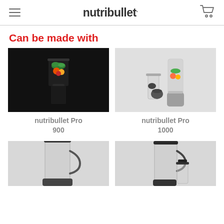nutribullet.
Can be made with
[Figure (photo): Black nutribullet Pro 900 blender with vegetables inside cup on dark background]
[Figure (photo): Silver nutribullet Pro 1000 blender kit with cups and accessories on light background]
nutribullet Pro 900
nutribullet Pro 1000
[Figure (photo): Partially visible nutribullet blender with large clear pitcher on light background]
[Figure (photo): Partially visible nutribullet blender set with multiple accessories on light background]